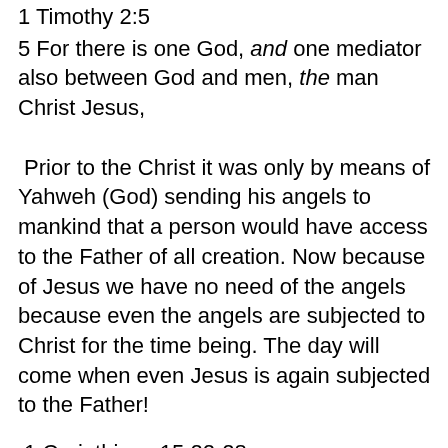1 Timothy 2:5
5 For there is one God, and one mediator also between God and men, the man Christ Jesus,
Prior to the Christ it was only by means of Yahweh (God) sending his angels to mankind that a person would have access to the Father of all creation. Now because of Jesus we have no need of the angels because even the angels are subjected to Christ for the time being. The day will come when even Jesus is again subjected to the Father!
1 Corinthians 15:22-28
22 For as in Adam all die, so also in Christ all will be made alive.